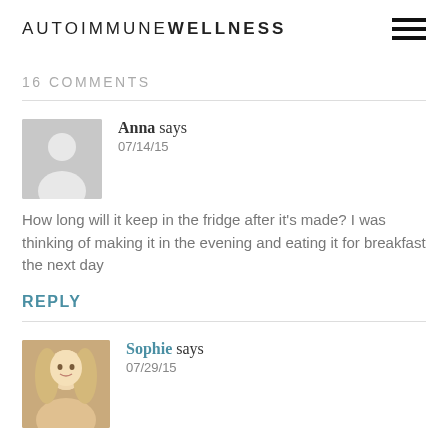AUTOIMMUNE WELLNESS
16 COMMENTS
Anna says
07/14/15
How long will it keep in the fridge after it's made? I was thinking of making it in the evening and eating it for breakfast the next day
REPLY
Sophie says
07/29/15